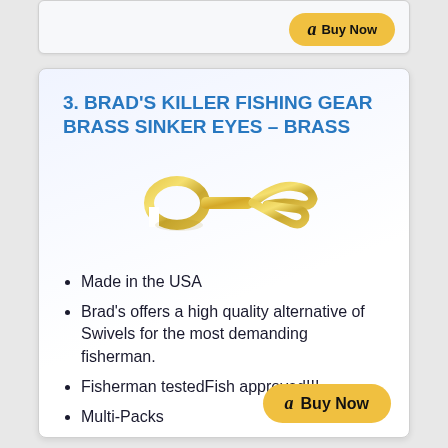3. BRAD'S KILLER FISHING GEAR BRASS SINKER EYES – BRASS
[Figure (photo): Gold/brass colored sinker eye fishing hardware piece shown against white background]
Made in the USA
Brad's offers a high quality alternative of Swivels for the most demanding fisherman.
Fisherman testedFish approved!!!
Multi-Packs